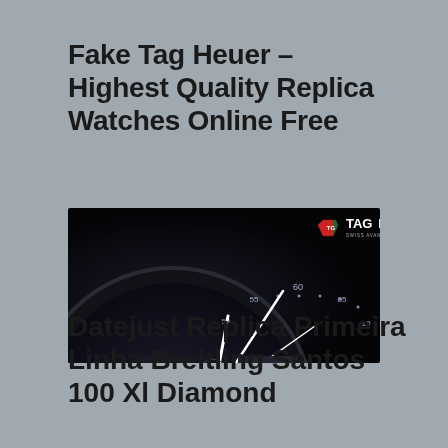Fake Tag Heuer – Highest Quality Replica Watches Online Free
[Figure (photo): TAG Heuer watch close-up advertisement banner showing the watch face with hour markings and hands on a dark background, with TAG Heuer logo in top right corner]
Datejust Replica Primeira Linha Breitling Santos 100 Xl Diamond